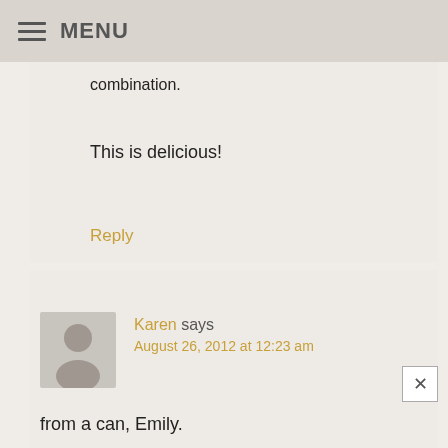MENU
combination.
This is delicious!
Reply
Karen says
August 26, 2012 at 12:23 am
from a can, Emily.
Reply